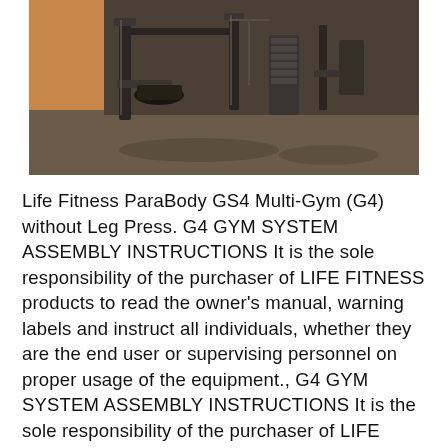[Figure (photo): Photo of a gym room with fitness equipment including multi-gym machines on a carpeted floor, taken from above/angle. Orange wall visible on left side.]
Life Fitness ParaBody GS4 Multi-Gym (G4) without Leg Press. G4 GYM SYSTEM ASSEMBLY INSTRUCTIONS It is the sole responsibility of the purchaser of LIFE FITNESS products to read the owner's manual, warning labels and instruct all individuals, whether they are the end user or supervising personnel on proper usage of the equipment., G4 GYM SYSTEM ASSEMBLY INSTRUCTIONS It is the sole responsibility of the purchaser of LIFE FITNESS products to read the owner's manual, warning labels and instruct all individuals, whether they are